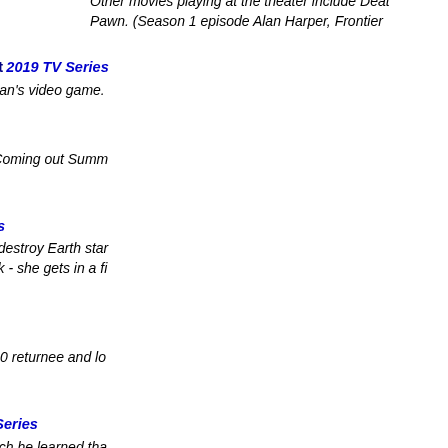Other movies playing at the theater include Death... Pawn. (Season 1 episode Alan Harper, Frontier ...
Dark Quiet Death: The Movie
Mythic Quest: Raven's Banquet 2019 TV Series
Film adaptation of Doc and Bean's video game.
Dawn of the Seven
The Boys 2019 TV Series
The ultimate team-up movie. Coming out Summ... (Season 3 episode Payback)
Death Blimp
Andy Barker, P.I. 2007 TV Series
Aliens steal a blimp and try to destroy Earth star... climber... it's not what you think - she gets in a fig... (Episode Dial M for Laptop)
Don Incubus, Demon P.I. (film)
The 4400 2004 TV Series
Comic book adaptation by 4400 returnee and lo... episode The Marked)
A Future Droid in King Arthur's Court
The Simpsons 1989 Animated Series
Rainier Wolfcastle's film in which he learned tha... defeat a paparazzo, it takes the world's greatest... Homerazzi)
Galaxy Quest (movie)
Galaxy Quest 1999 Film
In the world of the Galaxy Quest mockumentary...